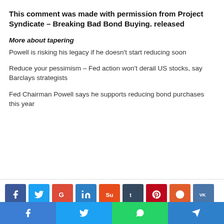This comment was made with permission from Project Syndicate – Breaking Bad Bond Buying. released
More about tapering
Powell is risking his legacy if he doesn't start reducing soon
Reduce your pessimism – Fed action won't derail US stocks, say Barclays strategists
Fed Chairman Powell says he supports reducing bond purchases this year
[Figure (infographic): Social sharing buttons: Facebook, Twitter, Google+, LinkedIn, StumbleUpon, Tumblr, Pinterest, Reddit, VK, Email, Print]
[Figure (infographic): Bottom social share bar with Facebook, Twitter, WhatsApp, and Telegram buttons]